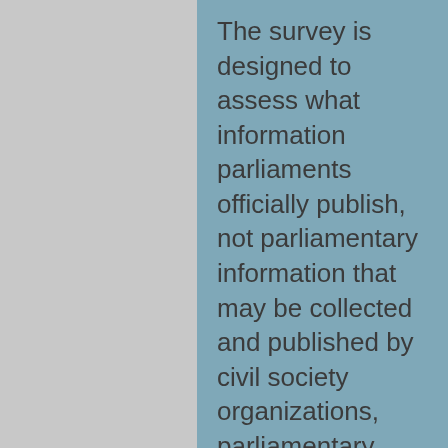The survey is designed to assess what information parliaments officially publish, not parliamentary information that may be collected and published by civil society organizations, parliamentary monitoring organizations, or other groups. Throughout the survey, respondents should only refer to information that is made publicly available by an official body of the parliament.
In parliaments with more than one chamber, practices and procedures may differ widely between chambers. As a result, survey respondents are asked to provide answers for only one chamber of parliament at a time. If a respondent is able to provide information on more than one chamber, we ask the respondent to complete a separate instance of the survey for each chamber.
To ensure accuracy and to recognize diverse perspectives, government officials, parliamentary staff, civil society organizations, and other